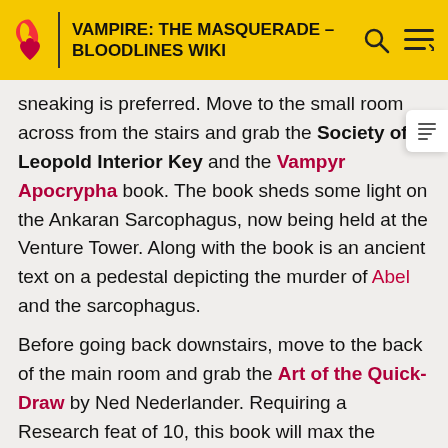VAMPIRE: THE MASQUERADE – BLOODLINES WIKI
sneaking is preferred. Move to the small room across from the stairs and grab the Society of Leopold Interior Key and the Vampyr Apocrypha book. The book sheds some light on the Ankaran Sarcophagus, now being held at the Venture Tower. Along with the book is an ancient text on a pedestal depicting the murder of Abel and the sarcophagus.
Before going back downstairs, move to the back of the main room and grab the Art of the Quick-Draw by Ned Nederlander. Requiring a Research feat of 10, this book will max the Firearms skill.
Using either the key or lockpick to reach the basement, descend the stairs and bypass or kill the three guards. One of the barrels at the end of the corridor can be